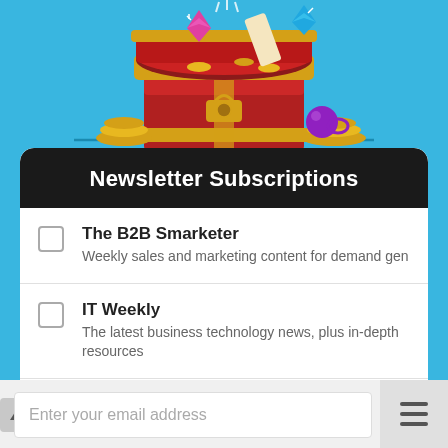[Figure (illustration): Treasure chest illustration overflowing with gold coins, gems, and diamonds on a cyan/blue background]
Newsletter Subscriptions
The B2B Smarketer
Weekly sales and marketing content for demand gen
IT Weekly
The latest business technology news, plus in-depth resources
HR Digest
A bimonthly digest of the best human resources content
Enter your email address